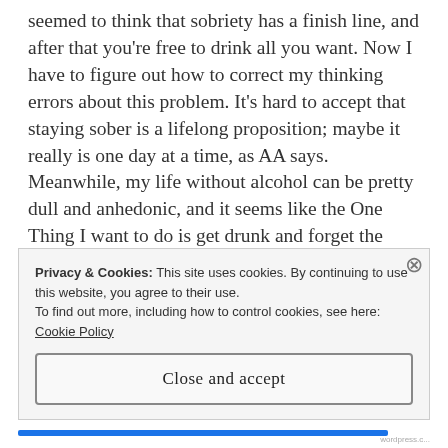seemed to think that sobriety has a finish line, and after that you're free to drink all you want. Now I have to figure out how to correct my thinking errors about this problem. It's hard to accept that staying sober is a lifelong proposition; maybe it really is one day at a time, as AA says. Meanwhile, my life without alcohol can be pretty dull and anhedonic, and it seems like the One Thing I want to do is get drunk and forget the world. This feels like the authentic and genuine action for me to take. But even this is rationalization to do something essentially bad with my life. And as time goes by, I come to believe a little
Privacy & Cookies: This site uses cookies. By continuing to use this website, you agree to their use.
To find out more, including how to control cookies, see here: Cookie Policy
Close and accept